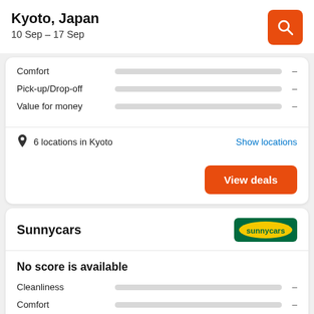Kyoto, Japan
10 Sep – 17 Sep
Comfort –
Pick-up/Drop-off –
Value for money –
6 locations in Kyoto
Show locations
View deals
Sunnycars
No score is available
Cleanliness –
Comfort –